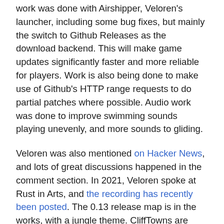work was done with Airshipper, Veloren's launcher, including some bug fixes, but mainly the switch to Github Releases as the download backend. This will make game updates significantly faster and more reliable for players. Work is also being done to make use of Github's HTTP range requests to do partial patches where possible. Audio work was done to improve swimming sounds playing unevenly, and more sounds to gliding.
Veloren was also mentioned on Hacker News, and lots of great discussions happened in the comment section. In 2021, Veloren spoke at Rust in Arts, and the recording has recently been posted. The 0.13 release map is in the works, with a jungle theme. CliffTowns are being developed, as a new town located in the mountains. Veloren recorded another reading club episode, this time about Tracy and optimizations. A new series was also started, and the first Veloren Code Review was recorded.
March's full weekly devlogs: "This Week In Veloren...";